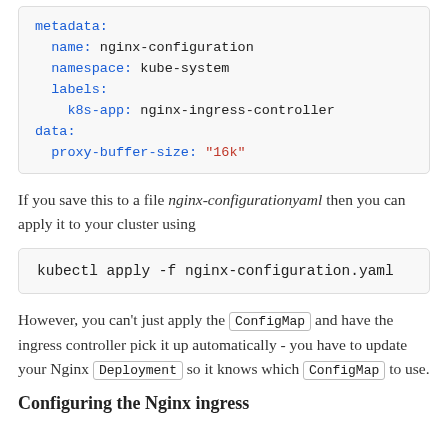[Figure (screenshot): YAML code block showing metadata with name: nginx-configuration, namespace: kube-system, labels: k8s-app: nginx-ingress-controller, data: proxy-buffer-size: "16k"]
If you save this to a file nginx-configurationyaml then you can apply it to your cluster using
[Figure (screenshot): Command block: kubectl apply -f nginx-configuration.yaml]
However, you can't just apply the ConfigMap and have the ingress controller pick it up automatically - you have to update your Nginx Deployment so it knows which ConfigMap to use.
Configuring the Nginx ingress